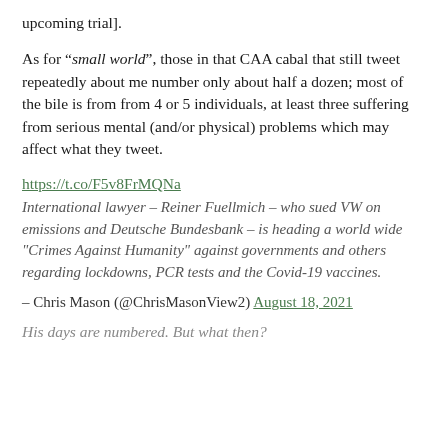upcoming trial].
As for “small world”, those in that CAA cabal that still tweet repeatedly about me number only about half a dozen; most of the bile is from from 4 or 5 individuals, at least three suffering from serious mental (and/or physical) problems which may affect what they tweet.
https://t.co/F5v8FrMQNa
International lawyer – Reiner Fuellmich – who sued VW on emissions and Deutsche Bundesbank – is heading a world wide "Crimes Against Humanity" against governments and others regarding lockdowns, PCR tests and the Covid-19 vaccines.
– Chris Mason (@ChrisMasonView2) August 18, 2021
His days are numbered. But what then?